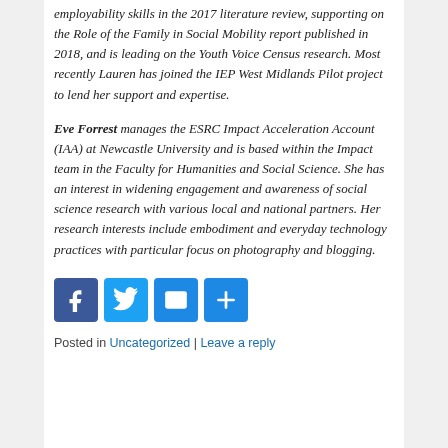employability skills in the 2017 literature review, supporting on the Role of the Family in Social Mobility report published in 2018, and is leading on the Youth Voice Census research. Most recently Lauren has joined the IEP West Midlands Pilot project to lend her support and expertise.
Eve Forrest manages the ESRC Impact Acceleration Account (IAA) at Newcastle University and is based within the Impact team in the Faculty for Humanities and Social Science. She has an interest in widening engagement and awareness of social science research with various local and national partners. Her research interests include embodiment and everyday technology practices with particular focus on photography and blogging.
[Figure (infographic): Social sharing buttons: Facebook, Twitter, Email, and a Share/More button, each displayed as a colored square icon.]
Posted in Uncategorized | Leave a reply